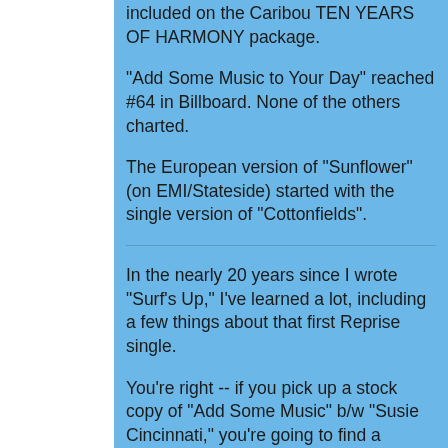included on the Caribou TEN YEARS OF HARMONY package.
"Add Some Music to Your Day" reached #64 in Billboard. None of the others charted.
The European version of "Sunflower" (on EMI/Stateside) started with the single version of "Cottonfields".
In the nearly 20 years since I wrote "Surf's Up," I've learned a lot, including a few things about that first Reprise single.
You're right -- if you pick up a stock copy of "Add Some Music" b/w "Susie Cincinnati," you're going to find a version of the song that's very similar to what's on 15 BIG ONES. The car sounds ARE in the same location. (The 15BO version IS a remix of this track, just not a drastic one. There's a harsher edge to Alan's vocal and the entire song is more compressed. It also runs a few seconds shorter.)
But if you pick up a promo copy of "ASM" b/w